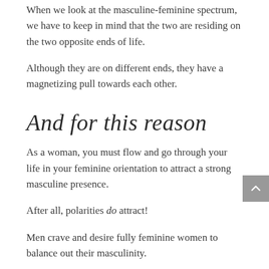When we look at the masculine-feminine spectrum, we have to keep in mind that the two are residing on the two opposite ends of life.
Although they are on different ends, they have a magnetizing pull towards each other.
And for this reason
As a woman, you must flow and go through your life in your feminine orientation to attract a strong masculine presence.
After all, polarities do attract!
Men crave and desire fully feminine women to balance out their masculinity.
When you learn to master the glide and slide between your masculine and your feminine self,